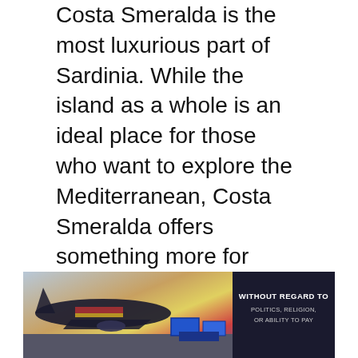Costa Smeralda is the most luxurious part of Sardinia. While the island as a whole is an ideal place for those who want to explore the Mediterranean, Costa Smeralda offers something more for those who really want to enjoy luxury. It is the most exclusive part of the entire island, known for its amazing beaches and stunning seaside resorts.
It is also a great place for yachts and the many boats that make the island-jump, so you can stay in the area for only a day if that's what you prefer. Costa Smeralda is also known for its excellent restaurants and the fantastic Italian cuisine that you can enjoy during your stay. This is another of the
[Figure (photo): Advertisement banner showing a cargo aircraft being loaded with freight at an airport, with a dark overlay box containing the text 'WITHOUT REGARD TO POLITICS, RELIGION, OR ABILITY TO PAY']